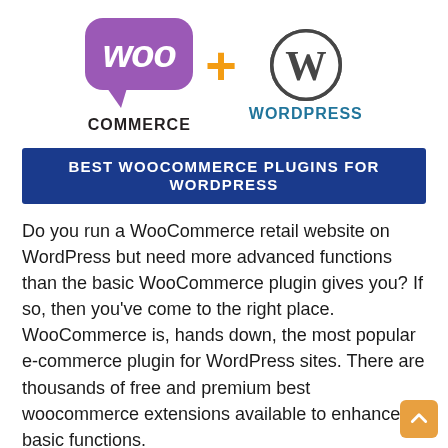[Figure (logo): WooCommerce logo (purple speech bubble with 'woo' text and 'COMMERCE' below) plus orange plus sign plus WordPress logo (circular W emblem with 'WordPress' text)]
BEST WOOCOMMERCE PLUGINS FOR WORDPRESS
Do you run a WooCommerce retail website on WordPress but need more advanced functions than the basic WooCommerce plugin gives you? If so, then you've come to the right place. WooCommerce is, hands down, the most popular e-commerce plugin for WordPress sites. There are thousands of free and premium best woocommerce extensions available to enhance its basic functions.